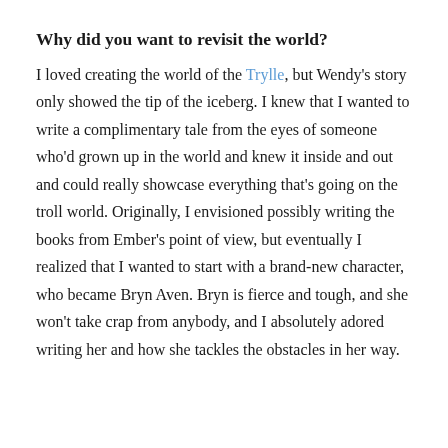Why did you want to revisit the world?
I loved creating the world of the Trylle, but Wendy's story only showed the tip of the iceberg. I knew that I wanted to write a complimentary tale from the eyes of someone who'd grown up in the world and knew it inside and out and could really showcase everything that's going on the troll world. Originally, I envisioned possibly writing the books from Ember's point of view, but eventually I realized that I wanted to start with a brand-new character, who became Bryn Aven. Bryn is fierce and tough, and she won't take crap from anybody, and I absolutely adored writing her and how she tackles the obstacles in her way.